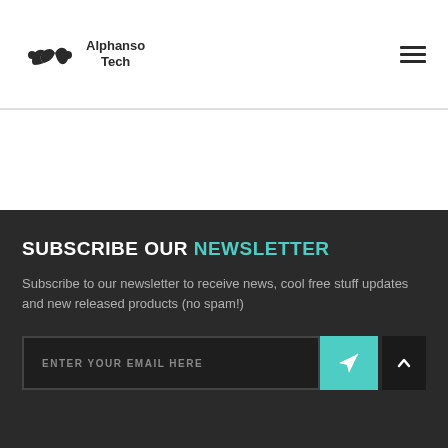[Figure (logo): Alphanso Tech logo — stylized 'ac' lettermark in dark color with company name 'Alphanso Tech' to the right]
[Figure (other): Hamburger menu icon — three horizontal dark lines stacked vertically]
SUBSCRIBE OUR NEWSLETTER
Subscribe to our newsletter to receive news, cool free stuff updates and new released products (no spam!)
ENTER YOUR EMAIL HERE